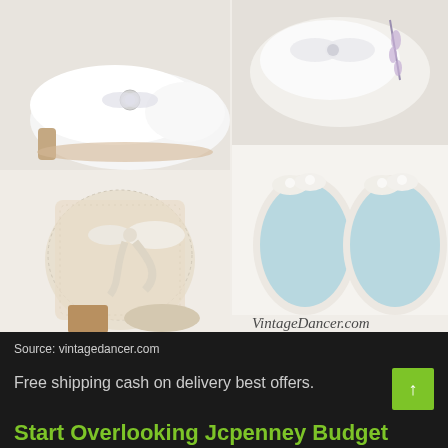[Figure (photo): Collage of vintage/wedding shoes: white satin kitten heel with brooch (top left), white satin shoes with bow (top right), lace ankle boot with ribbon bow (bottom left), two ivory floral ballet flats with blue insoles shown from above (bottom right). VintageDancer.com watermark visible.]
Source: vintagedancer.com
Free shipping cash on delivery best offers.
Start Overlooking Jcpenney Budget